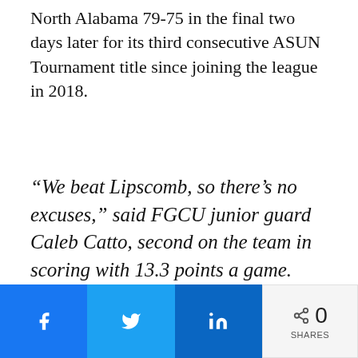North Alabama 79-75 in the final two days later for its third consecutive ASUN Tournament title since joining the league in 2018.
“We beat Lipscomb, so there’s no excuses,” said FGCU junior guard Caleb Catto, second on the team in scoring with 13.3 points a game. “We just didn’t perform to our capability.”
[Figure (other): Social share bar with Facebook, Twitter, and LinkedIn buttons, plus a share count showing 0 SHARES]